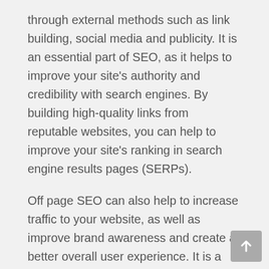through external methods such as link building, social media and publicity. It is an essential part of SEO, as it helps to improve your site's authority and credibility with search engines. By building high-quality links from reputable websites, you can help to improve your site's ranking in search engine results pages (SERPs).
Off page SEO can also help to increase traffic to your website, as well as improve brand awareness and create a better overall user experience. It is a valuable tool for businesses of all sizes, and can be used to achieve a variety of marketing goals.
Technical SEO
Technical SEO is a term used in the search engine optimization (SEO) industry to describe the process of optimizing a website for technical compliance with Google's Webmaster Guidelines. Site architecture is an